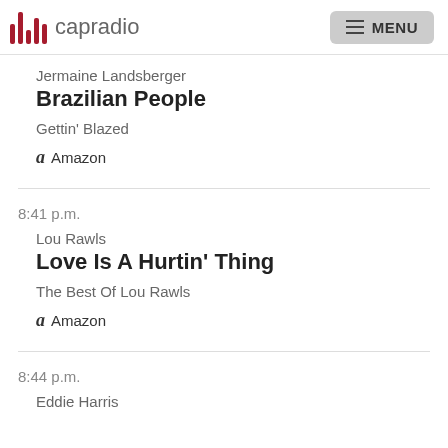capradio  MENU
Jermaine Landsberger
Brazilian People
Gettin' Blazed
Amazon
8:41 p.m.
Lou Rawls
Love Is A Hurtin' Thing
The Best Of Lou Rawls
Amazon
8:44 p.m.
Eddie Harris